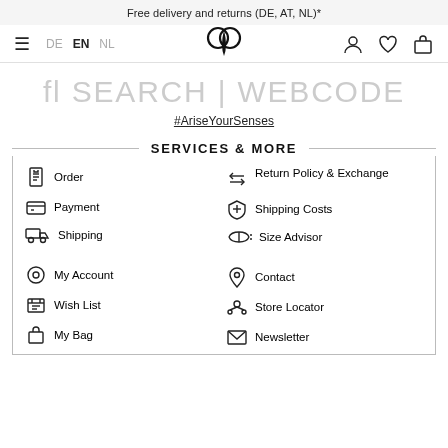Free delivery and returns (DE, AT, NL)*
[Figure (screenshot): Navigation bar with hamburger menu, language selectors (DE, EN, NL), logo (intertwined hearts), user/wishlist/bag icons]
fl SEARCH | WEBCODE
#AriseYourSenses
SERVICES & MORE
Order
Payment
Shipping
My Account
Wish List
My Bag
Return Policy & Exchange
Shipping Costs
Size Advisor
Contact
Store Locator
Newsletter